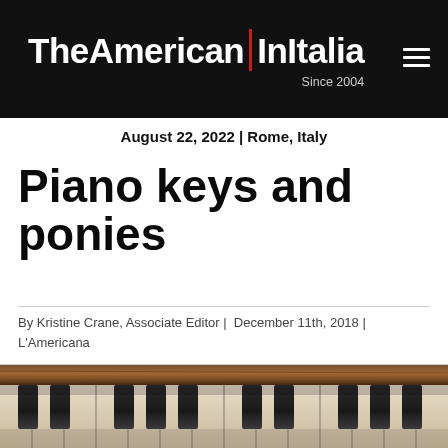TheAmerican | InItalia Since 2004
August 22, 2022 | Rome, Italy
Piano keys and ponies
By Kristine Crane, Associate Editor | December 11th, 2018 | L'Americana
[Figure (photo): Close-up photograph of aged piano keys, showing worn ivory white keys and dark black keys from an angle.]